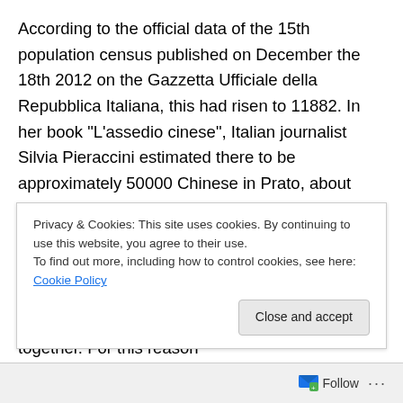According to the official data of the 15th population census published on December the 18th 2012 on the Gazzetta Ufficiale della Repubblica Italiana, this had risen to 11882. In her book "L'assedio cinese", Italian journalist Silvia Pieraccini estimated there to be approximately 50000 Chinese in Prato, about 27% of the population. If this is true this would be the highest density of Chinese in relation to the native population in Europe.
In the last thirty years the Italian and Chinese communities in Prato have been forced closer together. For this reason they have developed a new identity: the "language of...
Privacy & Cookies: This site uses cookies. By continuing to use this website, you agree to their use.
To find out more, including how to control cookies, see here: Cookie Policy